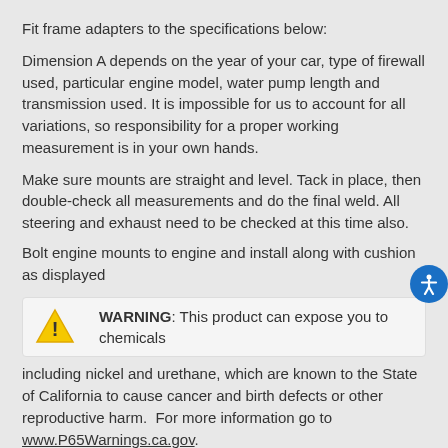Fit frame adapters to the specifications below:
Dimension A depends on the year of your car, type of firewall used, particular engine model, water pump length and transmission used. It is impossible for us to account for all variations, so responsibility for a proper working measurement is in your own hands.
Make sure mounts are straight and level. Tack in place, then double-check all measurements and do the final weld. All steering and exhaust need to be checked at this time also.
Bolt engine mounts to engine and install along with cushion as displayed
WARNING: This product can expose you to chemicals including nickel and urethane, which are known to the State of California to cause cancer and birth defects or other reproductive harm.  For more information go to www.P65Warnings.ca.gov.